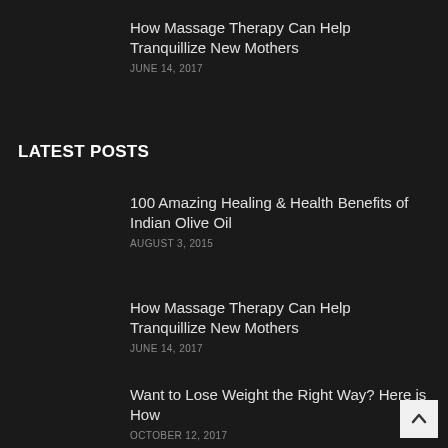How Massage Therapy Can Help Tranquillize New Mothers
JUNE 14, 2017
LATEST POSTS
100 Amazing Healing & Health Benefits of Indian Olive Oil
AUGUST 3, 2015
How Massage Therapy Can Help Tranquillize New Mothers
JUNE 14, 2017
Want to Lose Weight the Right Way? Here is How
OCTOBER 12, 2017